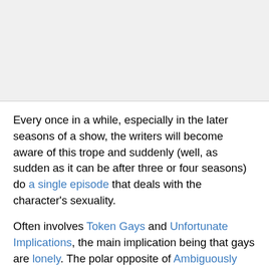[Figure (other): Gray placeholder image area at top of page]
Every once in a while, especially in the later seasons of a show, the writers will become aware of this trope and suddenly (well, as sudden as it can be after three or four seasons) do a single episode that deals with the character's sexuality.
Often involves Token Gays and Unfortunate Implications, the main implication being that gays are lonely. The polar opposite of Ambiguously Gay, and often the inverse of the Transparent Closet. Sometimes overlaps with Straight Gay. See also: Word of Gay (when this comes from an author announcement rather than in story). Get Back in the Closet